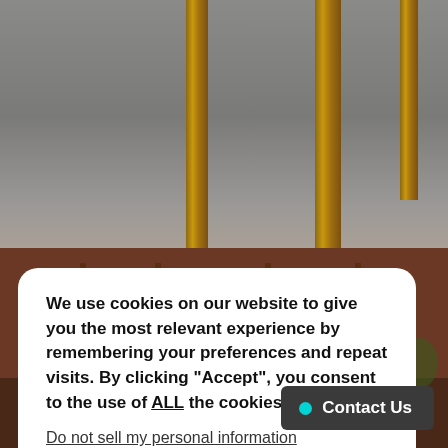[Figure (screenshot): Background illustration showing a fantasy or game-art building scene with wooden posts, balconies, and palm-like foliage. Top half shows a gray sky with vertical wooden posts; bottom half shows red-brown ornate building facades.]
We use cookies on our website to give you the most relevant experience by remembering your preferences and repeat visits. By clicking "Accept", you consent to the use of ALL the cookies.
Do not sell my personal information.
Cookie settings
ACCEPT
Contact Us